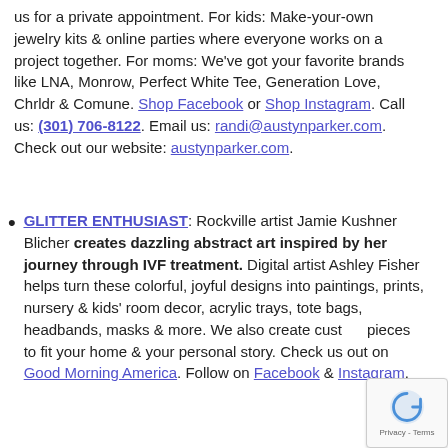us for a private appointment. For kids: Make-your-own jewelry kits & online parties where everyone works on a project together. For moms: We've got your favorite brands like LNA, Monrow, Perfect White Tee, Generation Love, Chrldr & Comune. Shop Facebook or Shop Instagram. Call us: (301) 706-8122. Email us: randi@austynparker.com. Check out our website: austynparker.com.
GLITTER ENTHUSIAST: Rockville artist Jamie Kushner Blicher creates dazzling abstract art inspired by her journey through IVF treatment. Digital artist Ashley Fisher helps turn these colorful, joyful designs into paintings, prints, nursery & kids' room decor, acrylic trays, tote bags, headbands, masks & more. We also create custom pieces to fit your home & your personal story. Check us out on Good Morning America. Follow on Facebook & Instagram.